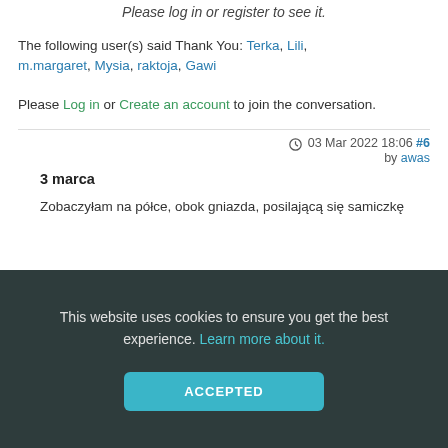Please log in or register to see it.
The following user(s) said Thank You: Terka, Lili, m.margaret, Mysia, raktoja, Gawi
Please Log in or Create an account to join the conversation.
03 Mar 2022 18:06 #6 by awas
3 marca
Zobaczyłam na półce, obok gniazda, posilającą się samiczkę
This website uses cookies to ensure you get the best experience. Learn more about it.
ACCEPTED